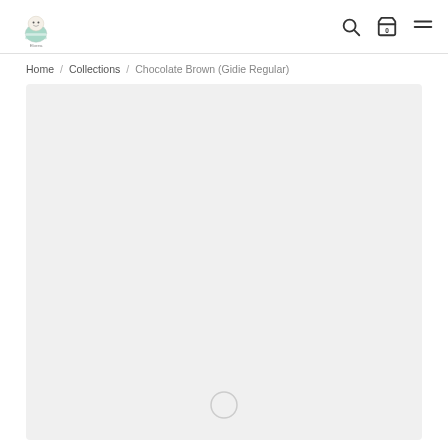Elorea - Home / Collections / Chocolate Brown (Gidie Regular)
Home / Collections / Chocolate Brown (Gidie Regular)
[Figure (photo): Product image area with light gray background and a loading spinner circle at the bottom center, indicating the product image is loading.]